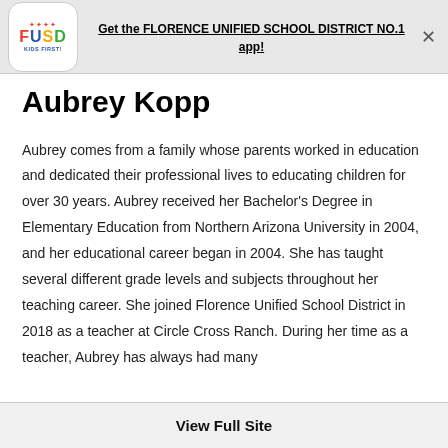Get the FLORENCE UNIFIED SCHOOL DISTRICT NO.1 app!
Aubrey Kopp
Aubrey comes from a family whose parents worked in education and dedicated their professional lives to educating children for over 30 years. Aubrey received her Bachelor's Degree in Elementary Education from Northern Arizona University in 2004, and her educational career began in 2004. She has taught several different grade levels and subjects throughout her teaching career. She joined Florence Unified School District in 2018 as a teacher at Circle Cross Ranch. During her time as a teacher, Aubrey has always had many
View Full Site